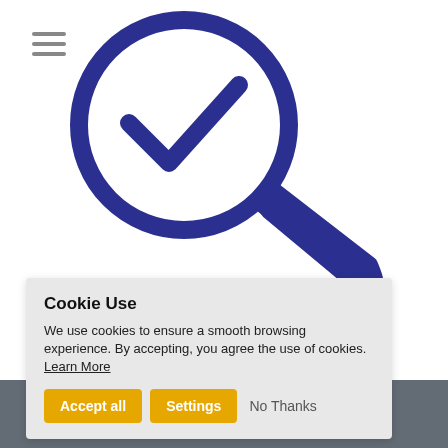[Figure (illustration): Dark navy blue magnifying glass icon with a checkmark inside the lens, centered in upper portion of page]
we will find
develop your
and we will introduce you.
Cookie Use
We use cookies to ensure a smooth browsing experience. By accepting, you agree the use of cookies. Learn More
Contact